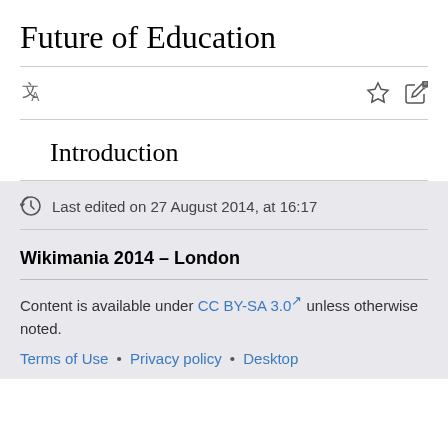Future of Education
Introduction
Last edited on 27 August 2014, at 16:17
Wikimania 2014 – London
Content is available under CC BY-SA 3.0 unless otherwise noted.
Terms of Use • Privacy policy • Desktop